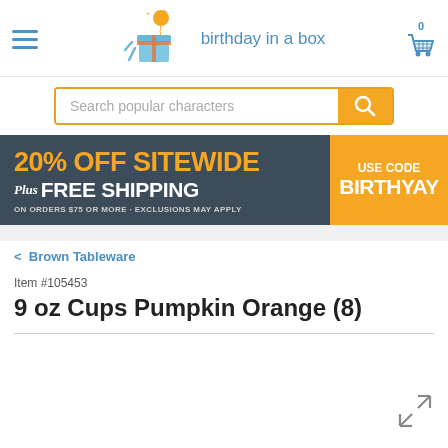birthday in a box
Search popular characters
[Figure (infographic): Promotional banner: 20% OFF SITEWIDE Plus FREE SHIPPING ON ORDERS $75 OR MORE - EXCLUSIONS MAY APPLY | USE CODE BIRTHYAY]
< Brown Tableware
Item #105453
9 oz Cups Pumpkin Orange (8)